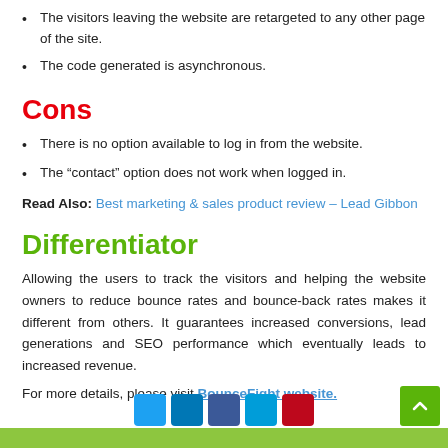The visitors leaving the website are retargeted to any other page of the site.
The code generated is asynchronous.
Cons
There is no option available to log in from the website.
The “contact” option does not work when logged in.
Read Also: Best marketing & sales product review – Lead Gibbon
Differentiator
Allowing the users to track the visitors and helping the website owners to reduce bounce rates and bounce-back rates makes it different from others. It guarantees increased conversions, lead generations and SEO performance which eventually leads to increased revenue.
For more details, please visit BounceFight website.